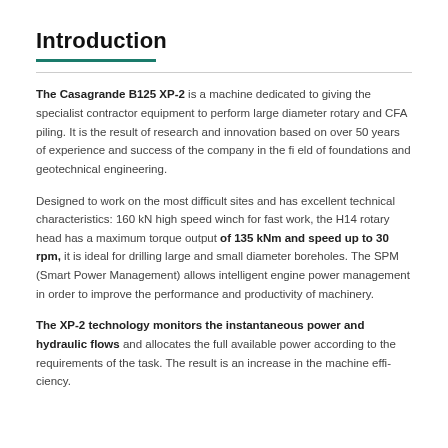Introduction
The Casagrande B125 XP-2 is a machine dedicated to giving the specialist contractor equipment to perform large diameter rotary and CFA piling. It is the result of research and innovation based on over 50 years of experience and success of the company in the fi eld of foundations and geotechnical engineering.
Designed to work on the most difficult sites and has excellent technical characteristics: 160 kN high speed winch for fast work, the H14 rotary head has a maximum torque output of 135 kNm and speed up to 30 rpm, it is ideal for drilling large and small diameter boreholes. The SPM (Smart Power Management) allows intelligent engine power management in order to improve the performance and productivity of machinery.
The XP-2 technology monitors the instantaneous power and hydraulic flows and allocates the full available power according to the requirements of the task. The result is an increase in the machine effi ciency.